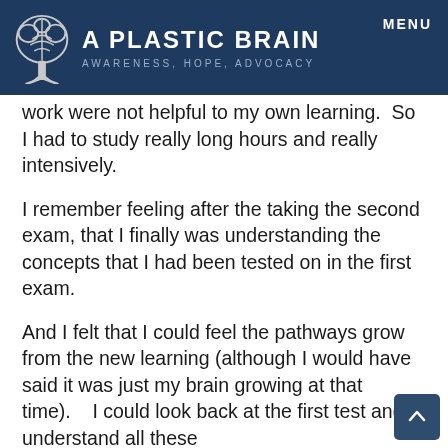A PLASTIC BRAIN | AWARENESS, HOPE, ADVOCACY | MENU
work were not helpful to my own learning.  So I had to study really long hours and really intensively.
I remember feeling after the taking the second exam, that I finally was understanding the concepts that I had been tested on in the first exam.
And I felt that I could feel the pathways grow from the new learning (although I would have said it was just my brain growing at that time).   I could look back at the first test and understand all these